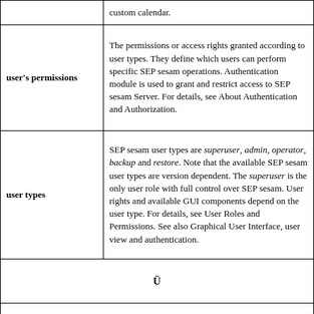|  | custom calendar. |
| user's permissions | The permissions or access rights granted according to user types. They define which users can perform specific SEP sesam operations. Authentication module is used to grant and restrict access to SEP sesam Server. For details, see About Authentication and Authorization. |
| user types | SEP sesam user types are superuser, admin, operator, backup and restore. Note that the available SEP sesam user types are version dependent. The superuser is the only user role with full control over SEP sesam. User rights and available GUI components depend on the user type. For details, see User Roles and Permissions. See also Graphical User Interface, user view and authentication. |
| Ü |  |
| V |  |
| vendor independent solution | A disclosure of the SEP sesam backup format provides independence from software vendors by providing the users with untroubled access to company data without any other license requirements. See also open source module. |
|  | Virtual file system layer (VFSL) is a feature that allows you to explore (view, browse, copy or restore) individual files... |